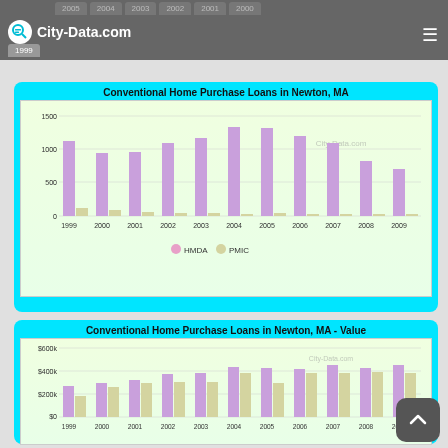City-Data.com — year navigation tabs: 2005, 2004, 2003, 2002, 2001, 2000, 1999
[Figure (grouped-bar-chart): Conventional Home Purchase Loans in Newton, MA]
[Figure (grouped-bar-chart): Conventional Home Purchase Loans in Newton, MA - Value]